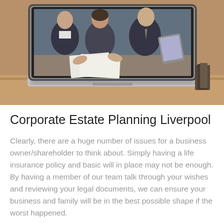[Figure (photo): Photo of a laptop on a wooden desk. On the laptop screen, three business professionals in suits are visible — two men and a woman — appearing to review documents, with one holding a tablet.]
Corporate Estate Planning Liverpool
Clearly, there are a huge number of issues for a business owner/shareholder to think about. Simply having a life insurance policy and basic will in place may not be enough. By having a member of our team talk through your wishes and reviewing your legal documents, we can ensure your business and family will be in the best possible shape if the worst happened.